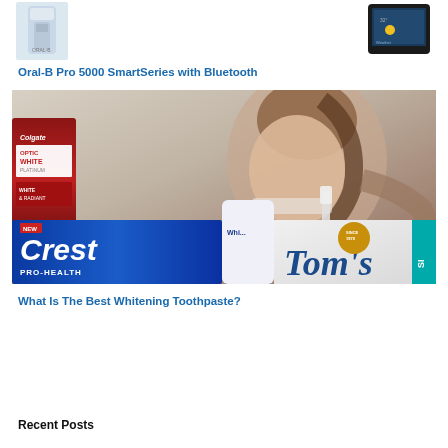[Figure (photo): Oral-B Pro 5000 electric toothbrush product image (top left) and a smartphone showing weather app (top right)]
Oral-B Pro 5000 SmartSeries with Bluetooth
[Figure (photo): Woman brushing teeth with electric toothbrush, surrounded by toothpaste products: Colgate Optic White Platinum, Crest Pro-Health, and Tom's of Maine]
What Is The Best Whitening Toothpaste?
Recent Posts